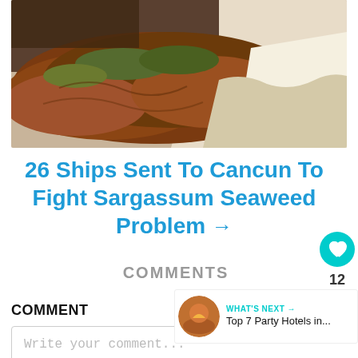[Figure (photo): Beach covered in brown/red sargassum seaweed washing onto white sandy shore]
26 Ships Sent To Cancun To Fight Sargassum Seaweed Problem →
COMMENTS
COMMENT
Write your comment...